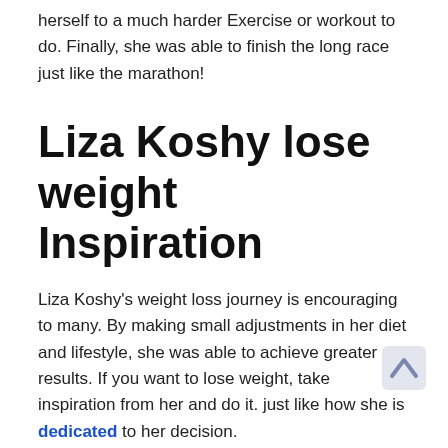herself to a much harder Exercise or workout to do. Finally, she was able to finish the long race just like the marathon!
Liza Koshy lose weight Inspiration
Liza Koshy's weight loss journey is encouraging to many. By making small adjustments in her diet and lifestyle, she was able to achieve greater results. If you want to lose weight, take inspiration from her and do it. just like how she is dedicated to her decision.
Tips for Successful